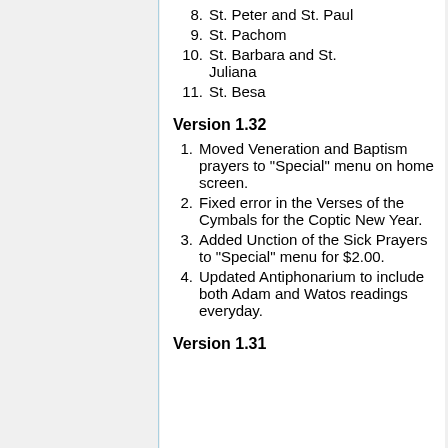8. St. Peter and St. Paul
9. St. Pachom
10. St. Barbara and St. Juliana
11. St. Besa
Version 1.32
1. Moved Veneration and Baptism prayers to "Special" menu on home screen.
2. Fixed error in the Verses of the Cymbals for the Coptic New Year.
3. Added Unction of the Sick Prayers to "Special" menu for $2.00.
4. Updated Antiphonarium to include both Adam and Watos readings everyday.
Version 1.31